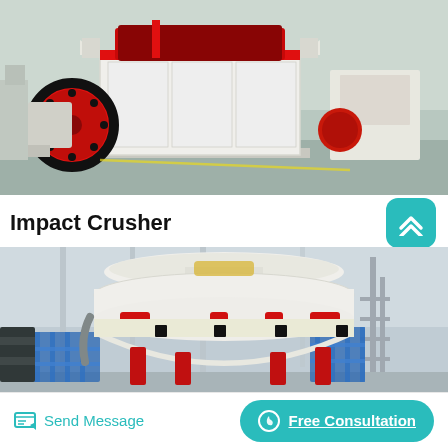[Figure (photo): Impact crusher machine in industrial warehouse setting. Large white and red industrial crusher with red flywheel disc on left side, white boxy body, set on factory floor with teal/grey floor. Similar crusher visible in background on right.]
Impact Crusher
[Figure (photo): Cone crusher machine in industrial warehouse. Large white cone-shaped crusher body with red accent pieces at mid-section, mounted on red hydraulic supports with blue safety railings/fencing around base. Industrial building interior visible.]
Send Message
Free Consultation